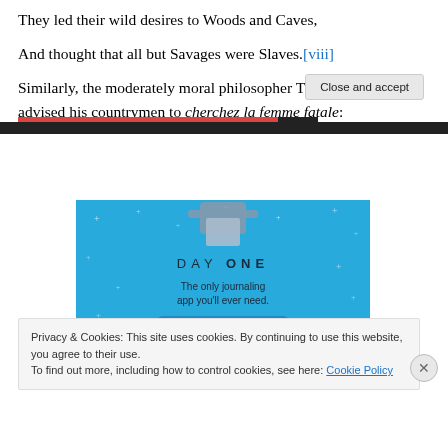They led their wild desires to Woods and Caves,
And thought that all but Savages were Slaves.[viii]
Similarly, the moderately moral philosopher Thomas Morgan advised his countrymen to cherchez la femme fatale:
[Figure (illustration): DAY ONE app advertisement with blue background, figure holding a box, text: DAY ONE - The only journaling app you'll ever need.]
Privacy & Cookies: This site uses cookies. By continuing to use this website, you agree to their use.
To find out more, including how to control cookies, see here: Cookie Policy
Close and accept